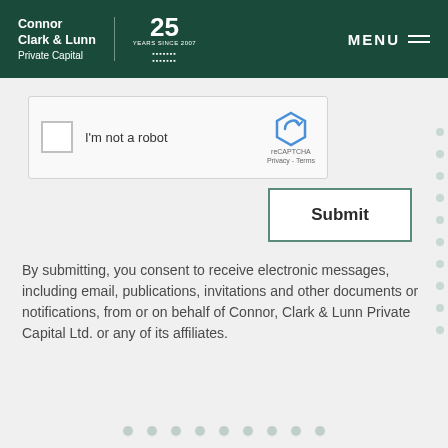[Figure (logo): Connor Clark & Lunn Private Capital logo with 25 years anniversary badge, white text on dark green header, with MENU navigation on right]
[Figure (screenshot): reCAPTCHA widget with checkbox, I'm not a robot text, and reCAPTCHA logo with Privacy and Terms links]
[Figure (other): Submit button with teal border]
By submitting, you consent to receive electronic messages, including email, publications, invitations and other documents or notifications, from or on behalf of Connor, Clark & Lunn Private Capital Ltd. or any of its affiliates.